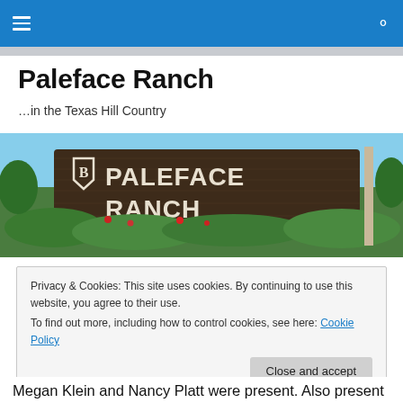Paleface Ranch navigation bar with hamburger menu and search icon
Paleface Ranch
…in the Texas Hill Country
[Figure (photo): Photograph of the Paleface Ranch entrance sign — large wooden sign with white lettering reading 'PALEFACE RANCH' with a logo shield, surrounded by green bushes and flowering plants]
Privacy & Cookies: This site uses cookies. By continuing to use this website, you agree to their use.
To find out more, including how to control cookies, see here: Cookie Policy
[Close and accept button]
Megan Klein and Nancy Platt were present. Also present